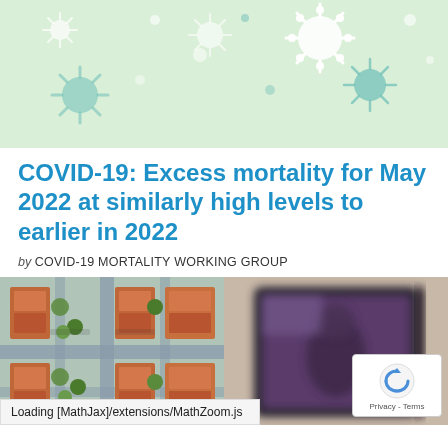[Figure (illustration): Light green background with illustrated virus/COVID particles (circular with spikes) in white and teal scattered across the surface]
COVID-19: Excess mortality for May 2022 at similarly high levels to earlier in 2022
by COVID-19 MORTALITY WORKING GROUP
[Figure (photo): Aerial view of residential neighborhood with terracotta-roofed houses, streets, and green trees]
[Figure (photo): Blurred close-up photo of a screen or tablet device]
Loading [MathJax]/extensions/MathZoom.js